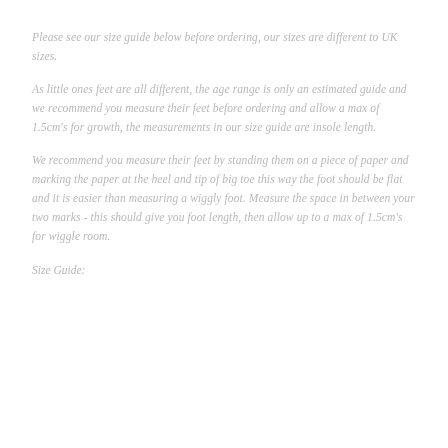Please see our size guide below before ordering, our sizes are different to UK sizes.
As little ones feet are all different, the age range is only an estimated guide and we recommend you measure their feet before ordering and allow a max of 1.5cm's for growth, the measurements in our size guide are insole length.
We recommend you measure their feet by standing them on a piece of paper and marking the paper at the heel and tip of big toe this way the foot should be flat and it is easier than measuring a wiggly foot. Measure the space in between your two marks - this should give you foot length, then allow up to a max of 1.5cm's for wiggle room.
Size Guide: